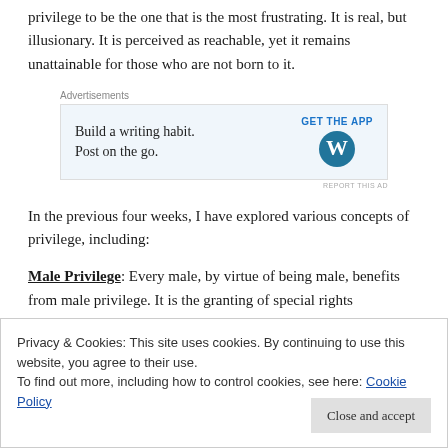privilege to be the one that is the most frustrating. It is real, but illusionary. It is perceived as reachable, yet it remains unattainable for those who are not born to it.
[Figure (other): Advertisement box for WordPress app: 'Build a writing habit. Post on the go.' with GET THE APP button and WordPress logo]
In the previous four weeks, I have explored various concepts of privilege, including:
Male Privilege: Every male, by virtue of being male, benefits from male privilege. It is the granting of special rights
Privacy & Cookies: This site uses cookies. By continuing to use this website, you agree to their use. To find out more, including how to control cookies, see here: Cookie Policy